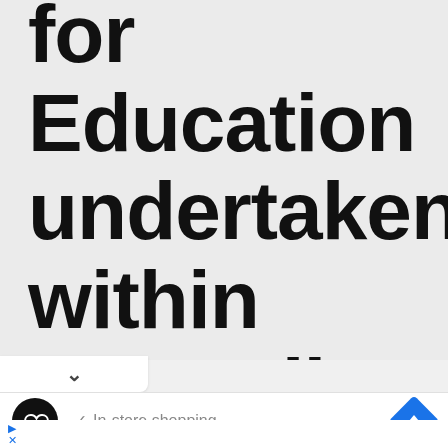Points for Education undertaken within Australia
[Figure (screenshot): Ad bar showing a business logo (dark circle with infinity-like symbol), a checkmark with 'In-store shopping' text, and a blue navigation arrow icon]